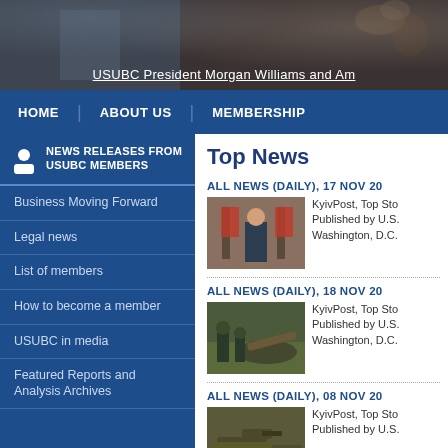[Figure (photo): Top banner photo showing people at an event, with decorative background. Caption reads: USUBC President Morgan Williams and Am]
USUBC President Morgan Williams and Am
HOME | ABOUT US | MEMBERSHIP
NEWS RELEASES FROM USUBC MEMBERS
Business Moving Forward
Legal news
List of members
How to become a member
USUBC in media
Featured Reports and Analysis Archives
Top News
ALL NEWS (DAILY), 17 NOV 20
[Figure (photo): Photo of a person in suit standing between two Russian flags in an official setting]
KyivPost, Top Sto Published by U.S. Washington, D.C.
ALL NEWS (DAILY), 18 NOV 20
[Figure (photo): Photo of soldiers or armed personnel near military wreckage]
KyivPost, Top Sto Published by U.S. Washington, D.C.
ALL NEWS (DAILY), 08 NOV 20
[Figure (photo): Photo showing military vehicles or tanks]
KyivPost, Top Sto Published by U.S.